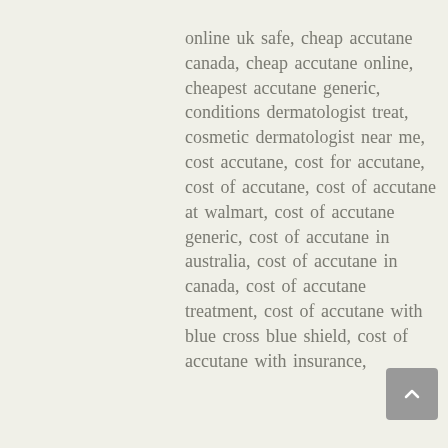online uk safe, cheap accutane canada, cheap accutane online, cheapest accutane generic, conditions dermatologist treat, cosmetic dermatologist near me, cost accutane, cost for accutane, cost of accutane, cost of accutane at walmart, cost of accutane generic, cost of accutane in australia, cost of accutane in canada, cost of accutane treatment, cost of accutane with blue cross blue shield, cost of accutane with insurance,